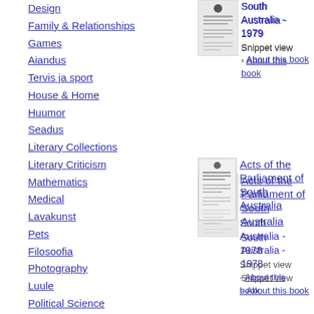Design
Family & Relationships
Games
Aiandus
Tervis ja sport
House & Home
Huumor
Seadus
Literary Collections
Literary Criticism
Mathematics
Medical
Lavakunst
Pets
Filosoofia
Photography
Luule
Political Science
Psühholoogia
Religioon
Eneseabi
Social Science
[Figure (illustration): Thumbnail of Acts of the Parliament of South Australia book cover]
Acts of the Parliament of South Australia
South Australia - 1979
Snippet view - About this book
[Figure (illustration): Thumbnail of Acts of the Parliament of South Australia book cover]
Acts of the Parliament of South Australia
South Australia - 1978
Snippet view - About this book
[Figure (illustration): Thumbnail of Acts of the Parliament of South Australia book cover]
Acts of the Parliament of South Australia
South Australia - 1977
Snippet view